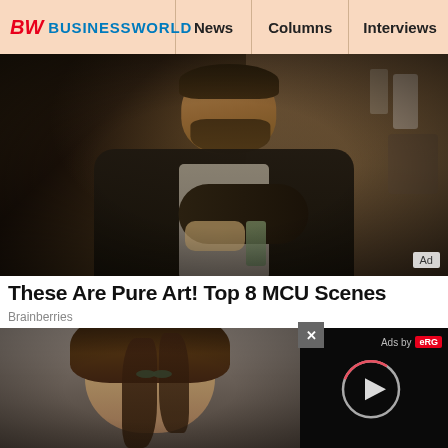BW BUSINESSWORLD | News | Columns | Interviews | BW
[Figure (photo): Movie still showing a bearded man in a dark jacket sitting and holding food, with kitchen background. Ad badge in bottom right corner.]
These Are Pure Art! Top 8 MCU Scenes
Brainberries
[Figure (photo): Photo of a young woman with dark hair, looking at the camera against a gray background.]
[Figure (screenshot): Video player overlay panel with black background, X close button, 'Ads by eRG' label, and a play button circle with loading arc.]